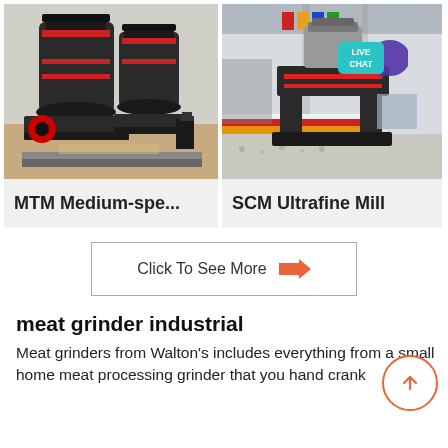[Figure (photo): Industrial MTM medium-speed grinding mill machine, large dark grey cylindrical equipment on a steel frame in a factory setting.]
MTM Medium-spe...
[Figure (photo): SCM Ultrafine Mill industrial machine on display in a factory/exhibition hall, grey heavy press-like equipment on a base, with a Live Chat bubble in the top right corner.]
SCM Ultrafine Mill
Click To See More ⇒
meat grinder industrial
Meat grinders from Walton's includes everything from a small home meat processing grinder that you hand crank